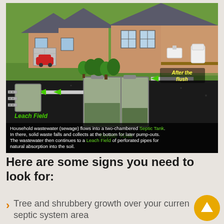[Figure (infographic): Cutaway illustration of a home septic system showing a house cross-section, a two-chambered Septic Tank underground, and a Leach Field with perforated pipes. Green arrows show flow direction from 'After the flush' inside the house through the Septic Tank to the Leach Field. Caption text below explains: 'Household wastewater (sewage) flows into a two-chambered Septic Tank. In there, solid waste falls and collects at the bottom for later pump-outs. The wastewater then continues to a Leach Field of perforated pipes for natural absorption into the soil.']
Here are some signs you need to look for:
Tree and shrubbery growth over your current septic system area